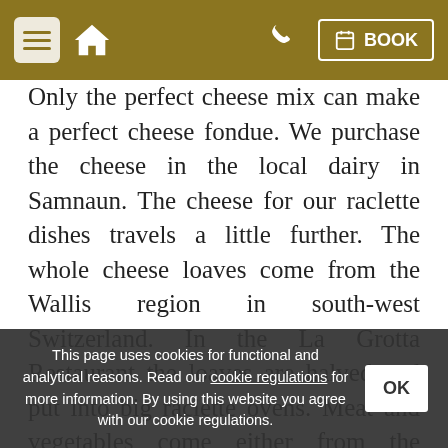Navigation bar with menu, home, phone, and BOOK button
Only the perfect cheese mix can make a perfect cheese fondue. We purchase the cheese in the local dairy in Samnaun. The cheese for our raclette dishes travels a little further. The whole cheese loaves come from the Wallis region in south-west Switzerland. In the La Grotta Restaurant the loaves are halved and put into big raclette ovens. Meat and vegetables come either from the Engadin and ... chocolate fondue tastes of course best with Swiss chocolate!
This page uses cookies for functional and analytical reasons. Read our cookie regulations for more information. By using this website you agree with our cookie regulations.